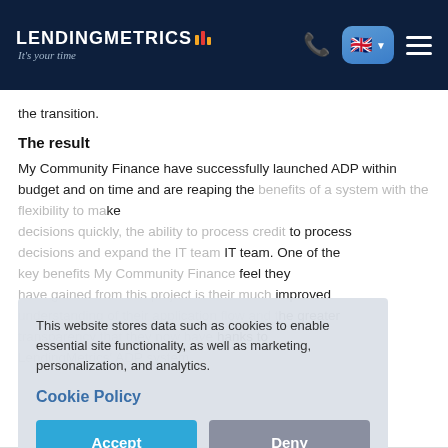LENDINGMETRICS - It's your time
the transition.
The result
My Community Finance have successfully launched ADP within budget and on time and are reaping the benefits of a system with the flexibility to make decisions quickly, the ability to process credit decisions and expand the IT team. One of the key benefits My Community Finance feel they have gained from this project is their much improved understanding of their application flow and the greater transparency that they now have thanks to LendingMetrics' ADP system.
This website stores data such as cookies to enable essential site functionality, as well as marketing, personalization, and analytics.
Cookie Policy
Accept
Deny